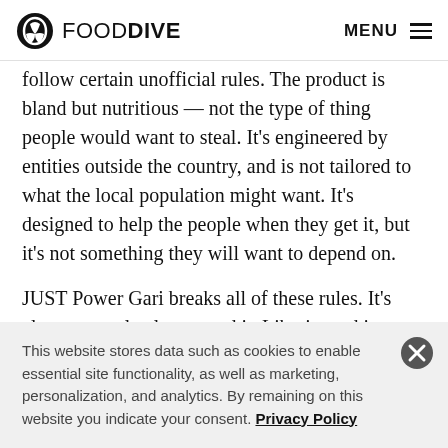FOOD DIVE  MENU
follow certain unofficial rules. The product is bland but nutritious — not the type of thing people would want to steal. It's engineered by entities outside the country, and is not tailored to what the local population might want. It's designed to help the people when they get it, but it's not something they will want to depend on.
JUST Power Gari breaks all of these rules. It's almost completely sourced in Liberia, and is moving toward
This website stores data such as cookies to enable essential site functionality, as well as marketing, personalization, and analytics. By remaining on this website you indicate your consent. Privacy Policy